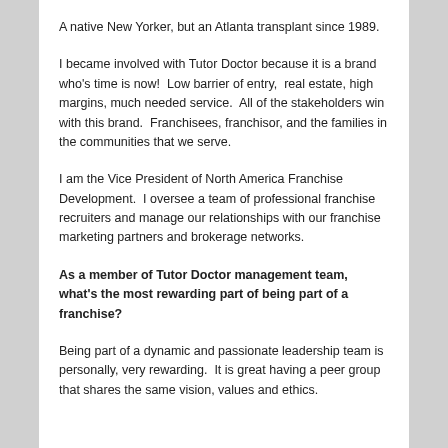A native New Yorker, but an Atlanta transplant since 1989.
I became involved with Tutor Doctor because it is a brand who's time is now!  Low barrier of entry,  real estate, high margins, much needed service.  All of the stakeholders win with this brand.  Franchisees, franchisor, and the families in the communities that we serve.
I am the Vice President of North America Franchise Development.  I oversee a team of professional franchise recruiters and manage our relationships with our franchise marketing partners and brokerage networks.
As a member of Tutor Doctor management team, what's the most rewarding part of being part of a franchise?
Being part of a dynamic and passionate leadership team is personally, very rewarding.  It is great having a peer group that shares the same vision, values and ethics.